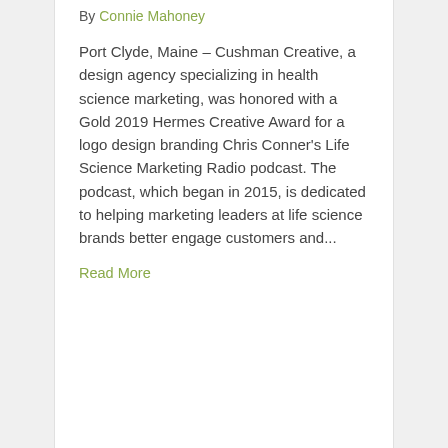By Connie Mahoney
Port Clyde, Maine – Cushman Creative, a design agency specializing in health science marketing, was honored with a Gold 2019 Hermes Creative Award for a logo design branding Chris Conner's Life Science Marketing Radio podcast. The podcast, which began in 2015, is dedicated to helping marketing leaders at life science brands better engage customers and...
Read More